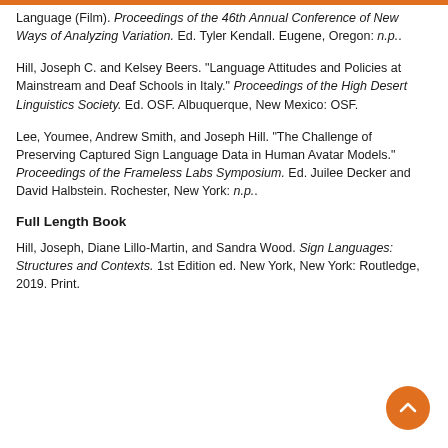Language (Film). Proceedings of the 46th Annual Conference of New Ways of Analyzing Variation. Ed. Tyler Kendall. Eugene, Oregon: n.p..
Hill, Joseph C. and Kelsey Beers. "Language Attitudes and Policies at Mainstream and Deaf Schools in Italy." Proceedings of the High Desert Linguistics Society. Ed. OSF. Albuquerque, New Mexico: OSF.
Lee, Youmee, Andrew Smith, and Joseph Hill. "The Challenge of Preserving Captured Sign Language Data in Human Avatar Models." Proceedings of the Frameless Labs Symposium. Ed. Juilee Decker and David Halbstein. Rochester, New York: n.p..
Full Length Book
Hill, Joseph, Diane Lillo-Martin, and Sandra Wood. Sign Languages: Structures and Contexts. 1st Edition ed. New York, New York: Routledge, 2019. Print.